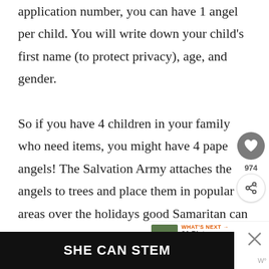application number, you can have 1 angel per child. You will write down your child's first name (to protect privacy), age, and gender.

So if you have 4 children in your family who need items, you might have 4 paper angels! The Salvation Army attaches the angels to trees and place them in popular areas over the holidays so a good Samaritan can take an angel and
[Figure (screenshot): UI overlay elements: heart/save button, share count 974, share button]
[Figure (screenshot): What's Next promo box: thumbnail image of green background, label 'WHAT'S NEXT ->', title '21 Pictures Proving...']
[Figure (screenshot): Advertisement banner at bottom: black background with white bold text 'SHE CAN STEM', with X close button and WMo badge]